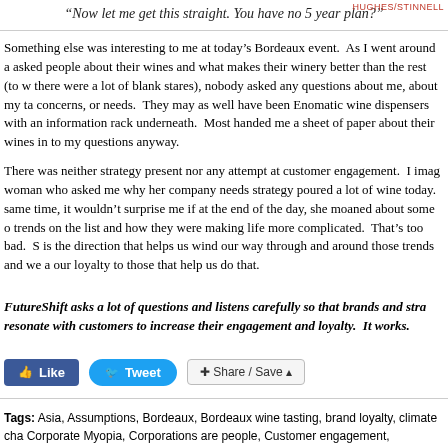HUGHES/STINNELL
“Now let me get this straight. You have no 5 year plan?”
Something else was interesting to me at today’s Bordeaux event.  As I went around a asked people about their wines and what makes their winery better than the rest (to w there were a lot of blank stares), nobody asked any questions about me, about my ta concerns, or needs.  They may as well have been Enomatic wine dispensers with an information rack underneath.  Most handed me a sheet of paper about their wines in to my questions anyway.
There was neither strategy present nor any attempt at customer engagement.  I imag woman who asked me why her company needs strategy poured a lot of wine today. same time, it wouldn’t surprise me if at the end of the day, she moaned about some o trends on the list and how they were making life more complicated.  That’s too bad.  S is the direction that helps us wind our way through and around those trends and we a our loyalty to those that help us do that.
FutureShift asks a lot of questions and listens carefully so that brands and stra resonate with customers to increase their engagement and loyalty.  It works.
[Figure (other): Social sharing buttons: Like (Facebook), Tweet (Twitter), Share/Save]
Tags: Asia, Assumptions, Bordeaux, Bordeaux wine tasting, brand loyalty, climate cha Corporate Myopia, Corporations are people, Customer engagement, Customers, cyb threats, economic policies, Enomatic, ESG, facebook, futureshift, Global Trends, inc disparities, Individualists, Leadership, linear thinking, Marketing, megacities, middle o Middle East, misinformation, Mitt Romney, my friend., North Africa, Outcomes, Positi